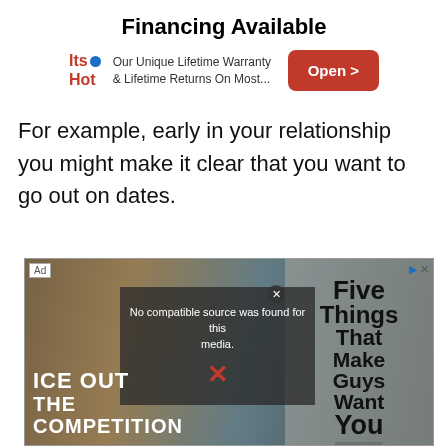Financing Available
[Figure (infographic): Ad banner for 'Its Hot' with logo, text 'Our Unique Lifetime Warranty & Lifetime Returns On Most...' and an 'Open >' button]
For example, early in your relationship you might make it clear that you want to go out on dates.
[Figure (screenshot): Advertisement block showing a video player with 'No compatible source was found for this media.' overlay with X icon, a YETI 'ICE OUT THE COMPETITION' ad, and 'Five Things That Make Guys Want You' overlay. Ad label and close button visible.]